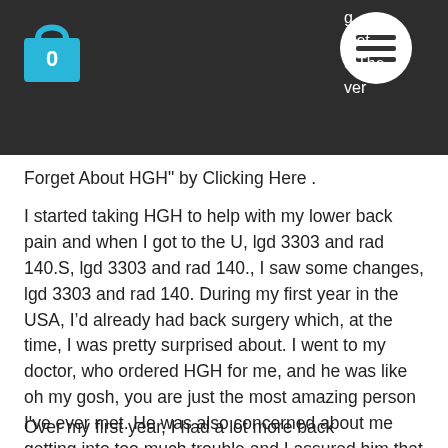Get The Over Forget About HGH" by Clicking Here .
I started taking HGH to help with my lower back pain and when I got to the U, lgd 3303 and rad 140.S, lgd 3303 and rad 140., I saw some changes, lgd 3303 and rad 140. During my first year in the USA, I’d already had back surgery which, at the time, I was pretty surprised about. I went to my doctor, who ordered HGH for me, and he was like oh my gosh, you are just the most amazing person I've ever met. He was also concerned about me getting into too much trouble and I assured him that the stuff he had in stock would keep me in check, anadrol dianabol stack.
Over my first year, I had a lot more back